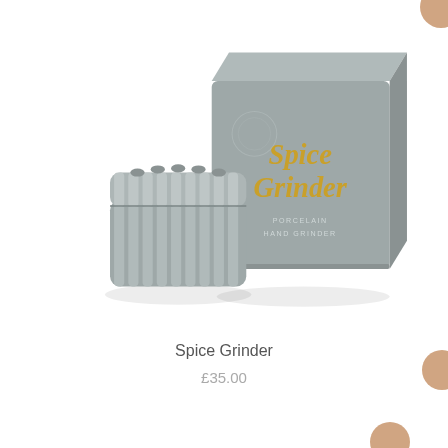[Figure (photo): A grey ceramic spice grinder next to its grey matte square box packaging. The box displays 'Spice Grinder' in gold italic serif font on the front, with smaller text beneath reading 'PORCELAIN HAND GRINDER'. The grinder itself is cylindrical with ribbed/fluted sides and a lid.]
Spice Grinder
£35.00